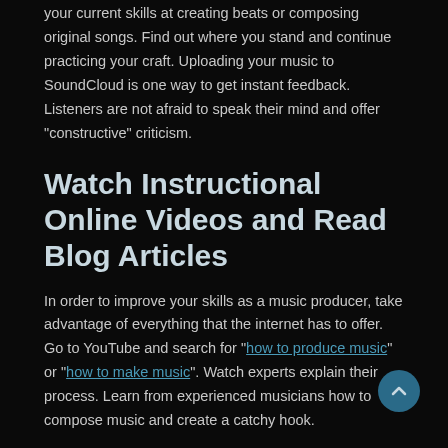your current skills at creating beats or composing original songs. Find out where you stand and continue practicing your craft. Uploading your music to SoundCloud is one way to get instant feedback. Listeners are not afraid to speak their mind and offer "constructive" criticism.
Watch Instructional Online Videos and Read Blog Articles
In order to improve your skills as a music producer, take advantage of everything that the internet has to offer. Go to YouTube and search for "how to produce music" or "how to make music". Watch experts explain their process. Learn from experienced musicians how to compose music and create a catchy hook.
Along with videos, you can find instructional blog posts.